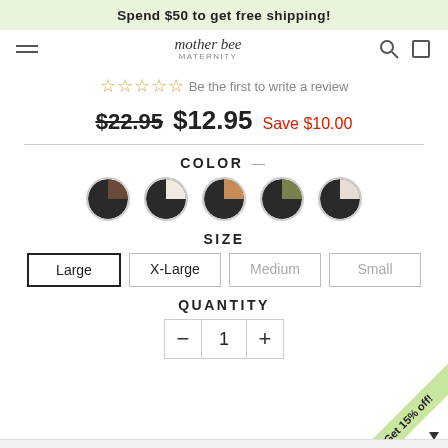Spend $50 to get free shipping!
[Figure (logo): Mother Bee Maternity logo with navigation icons]
Be the first to write a review
$22.95  $12.95  Save $10.00
COLOR —
[Figure (other): Five color swatches: black/grey, black/ivory, black/tan, black/olive, black/cream]
SIZE
Large  X-Large  Medium  Small
QUANTITY
- 1 +